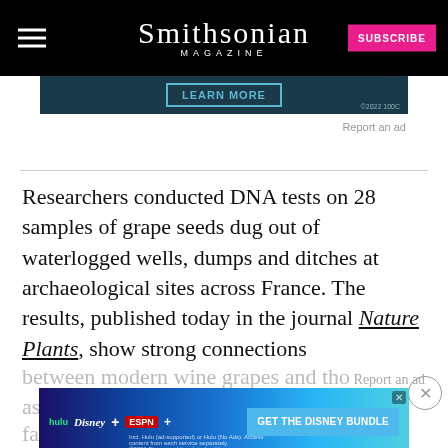Smithsonian MAGAZINE
[Figure (screenshot): Advertisement banner with teal/dark background showing 'LEARN MORE' button and ©2022 logo]
Report an ad
Researchers conducted DNA tests on 28 samples of grape seeds dug out of waterlogged wells, dumps and ditches at archaeological sites across France. The results, published today in the journal Nature Plants, show strong connections between modern wine grapes and tho as far ba
[Figure (screenshot): Disney Bundle advertisement showing Hulu, Disney+, ESPN+ logos with 'GET THE DISNEY BUNDLE' button]